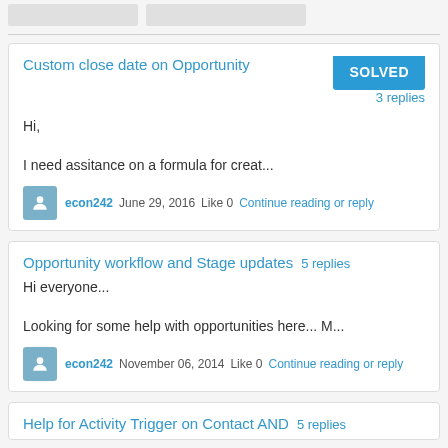[Figure (other): Two gray rounded rectangular buttons at top]
Custom close date on Opportunity
Hi,
I need assitance on a formula for creat...
SOLVED
3 replies
econ242  June 29, 2016  Like 0  Continue reading or reply
Opportunity workflow and Stage updates  5 replies
Hi everyone...
Looking for some help with opportunities here... M...
econ242  November 06, 2014  Like 0  Continue reading or reply
Help for Activity Trigger on Contact AND  5 replies